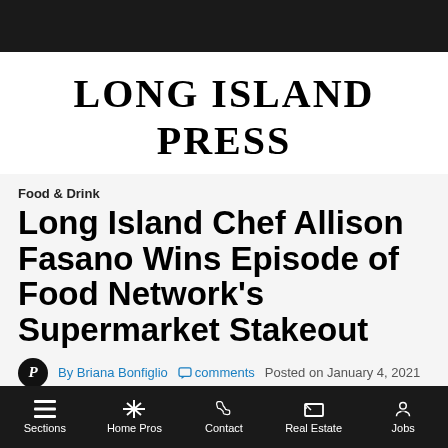Long Island Press
Food & Drink
Long Island Chef Allison Fasano Wins Episode of Food Network's Supermarket Stakeout
By Briana Bonfiglio   comments   Posted on January 4, 2021
[Figure (photo): Dark photo strip showing a storefront or building exterior]
Sections   Home Pros   Contact   Real Estate   Jobs